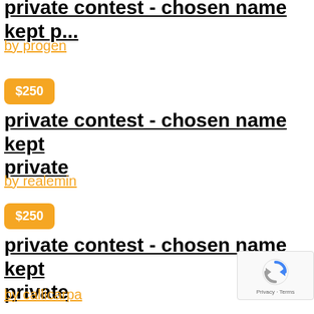private contest - chosen name kept private
by progen
$250
private contest - chosen name kept private
by realemin
$250
private contest - chosen name kept private
by callicarpa